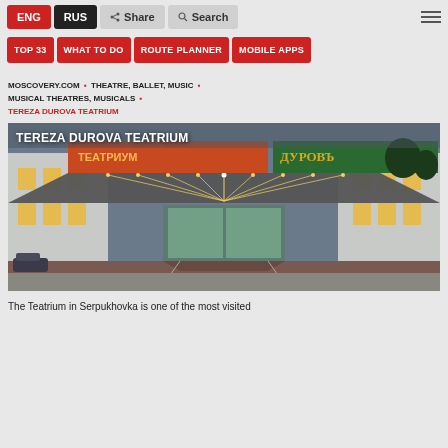ENG | RUS | Share | Search
TOP 33 | WHAT TO DO | ROUTE PLANNER | MOBILE APPS
MOSCOVERY.COM • THEATRE, BALLET, MUSIC • MUSICAL THEATRES, MUSICALS • TEREZA DUROVA TEATRIUM
TEREZA DUROVA TEATRIUM
[Figure (photo): Exterior photo of the Tereza Durova Teatrium building in Serpukhovka, showing illuminated entrance canopy with lights, building signage in Russian and pre-revolutionary script reading TEATRIUM and DUROV, and the surrounding area at dusk.]
The Teatrium in Serpukhovka is one of the most visited